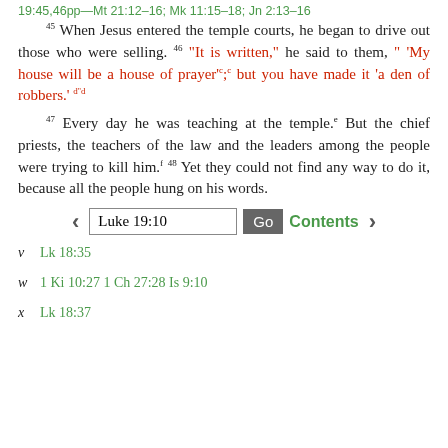19:45,46pp—Mt 21:12–16; Mk 11:15–18; Jn 2:13–16
45 When Jesus entered the temple courts, he began to drive out those who were selling. 46 "It is written," he said to them, " 'My house will be a house of prayer'c;c but you have made it 'a den of robbers.' d"d
47 Every day he was teaching at the temple.e But the chief priests, the teachers of the law and the leaders among the people were trying to kill him.f 48 Yet they could not find any way to do it, because all the people hung on his words.
[Figure (screenshot): Navigation bar with left arrow, text input field showing 'Luke 19:10', Go button, Contents link, and right arrow]
v  Lk 18:35
w  1 Ki 10:27 1 Ch 27:28 Is 9:10
x  Lk 18:37